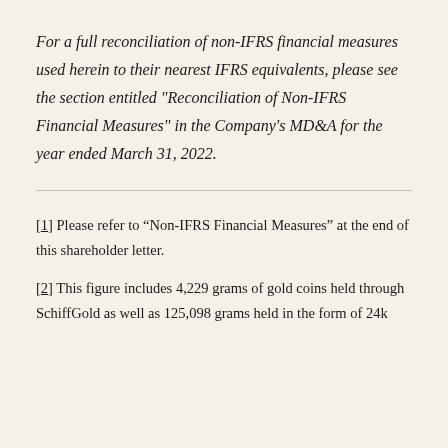For a full reconciliation of non-IFRS financial measures used herein to their nearest IFRS equivalents, please see the section entitled "Reconciliation of Non-IFRS Financial Measures" in the Company's MD&A for the year ended March 31, 2022.
[1] Please refer to “Non-IFRS Financial Measures” at the end of this shareholder letter.
[2] This figure includes 4,229 grams of gold coins held through SchiffGold as well as 125,098 grams held in the form of 24k